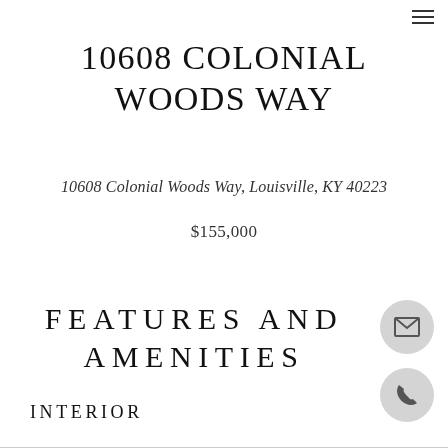menu icon (hamburger)
10608 COLONIAL WOODS WAY
10608 Colonial Woods Way, Louisville, KY 40223
$155,000
FEATURES AND AMENITIES
INTERIOR